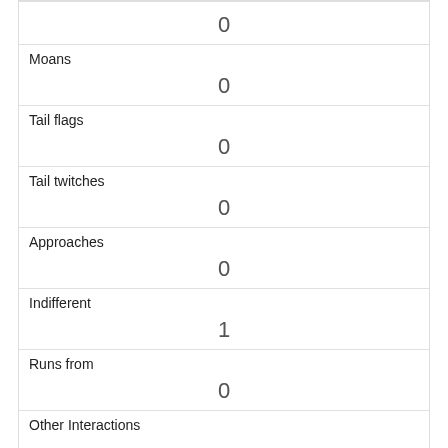|  | 0 |
| Moans | 0 |
| Tail flags | 0 |
| Tail twitches | 0 |
| Approaches | 0 |
| Indifferent | 1 |
| Runs from | 0 |
| Other Interactions |  |
| Lat/Long | POINT (-73.9719735582476 40.7693045133578) |
| Link | 19 |
| rowid |  |